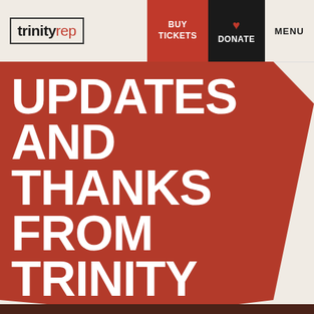trinity rep — BUY TICKETS  DONATE  MENU
UPDATES AND THANKS FROM TRINITY REP'S EXECUTIVE DIRECTOR